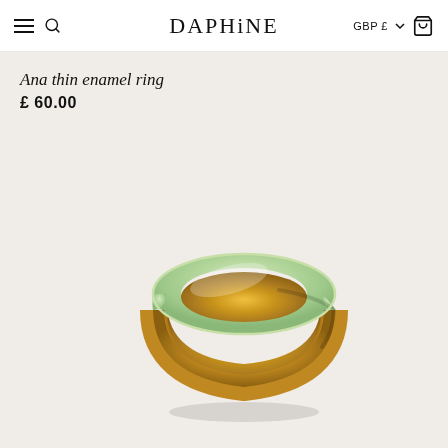DAPHiNE — GBP £
Ana thin enamel ring
£ 60.00
[Figure (photo): A thin gold ring with sage/mint green enamel coating on the outside, photographed on a light beige background. The ring has a curved dome profile with glossy enamel on top and polished gold interior visible.]